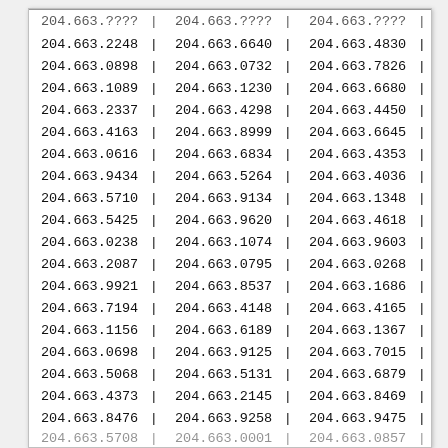| 204.663.2248 | | | 204.663.6640 | | | 204.663.4830 | | |
| 204.663.0898 | | | 204.663.0732 | | | 204.663.7826 | | |
| 204.663.1089 | | | 204.663.1230 | | | 204.663.6680 | | |
| 204.663.2337 | | | 204.663.4298 | | | 204.663.4450 | | |
| 204.663.4163 | | | 204.663.8999 | | | 204.663.6645 | | |
| 204.663.0616 | | | 204.663.6834 | | | 204.663.4353 | | |
| 204.663.9434 | | | 204.663.5264 | | | 204.663.4036 | | |
| 204.663.5710 | | | 204.663.9134 | | | 204.663.1348 | | |
| 204.663.5425 | | | 204.663.9620 | | | 204.663.4618 | | |
| 204.663.0238 | | | 204.663.1074 | | | 204.663.9603 | | |
| 204.663.2087 | | | 204.663.0795 | | | 204.663.0268 | | |
| 204.663.9921 | | | 204.663.8537 | | | 204.663.1686 | | |
| 204.663.7194 | | | 204.663.4148 | | | 204.663.4165 | | |
| 204.663.1156 | | | 204.663.6189 | | | 204.663.1367 | | |
| 204.663.0698 | | | 204.663.9125 | | | 204.663.7015 | | |
| 204.663.5068 | | | 204.663.5131 | | | 204.663.6879 | | |
| 204.663.4373 | | | 204.663.2145 | | | 204.663.8469 | | |
| 204.663.8476 | | | 204.663.9258 | | | 204.663.9475 | | |
| 204.663.5708 | | | 204.663.0001 | | | 204.663.0857 | | |